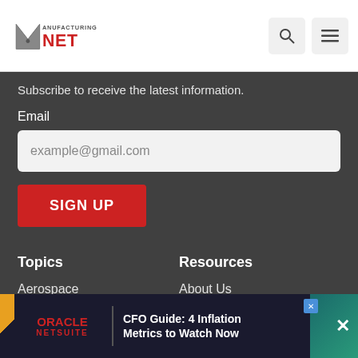Manufacturing.net
Subscribe to receive the latest information.
Email
example@gmail.com
SIGN UP
Topics
Aerospace
Automotive
Energy
Industry
Labor
Resources
About Us
Contact Us
Advertise
[Figure (screenshot): Oracle NetSuite advertisement: CFO Guide: 4 Inflation Metrics to Watch Now]